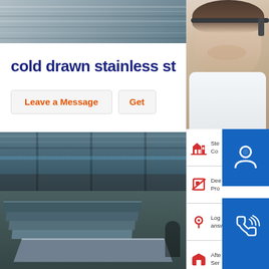[Figure (screenshot): Website screenshot showing a stainless steel product page with a factory warehouse photo, 'cold drawn stainless st...' heading in dark blue, Leave a Message and Get... buttons, and a right-side panel with Online Consultation widget showing headset icon, phone icon, Skype icon, and service menu items (Steel... Con..., Dee... Pro..., Log... answering..., Afte... Ser...), plus a customer service representative photo at top right.]